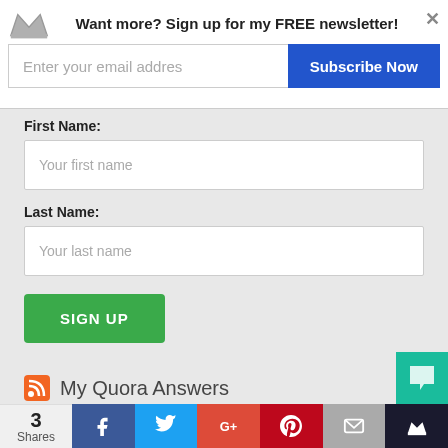Want more? Sign up for my FREE newsletter!
First Name:
Your first name
Last Name:
Your last name
SIGN UP
My Quora Answers
Reach out and connect (spam free)!
Your Name (required)
3 Shares  f  t  G+  p  mail  crown